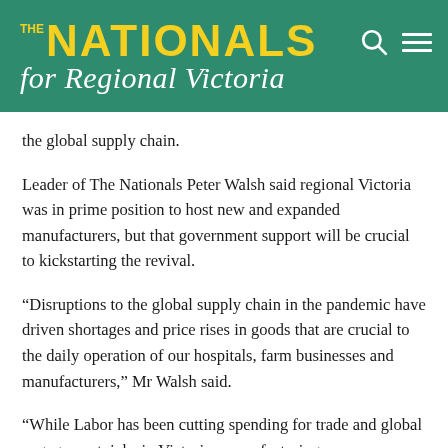THE NATIONALS for Regional Victoria
the global supply chain.
Leader of The Nationals Peter Walsh said regional Victoria was in prime position to host new and expanded manufacturers, but that government support will be crucial to kickstarting the revival.
“Disruptions to the global supply chain in the pandemic have driven shortages and price rises in goods that are crucial to the daily operation of our hospitals, farm businesses and manufacturers,” Mr Walsh said.
“While Labor has been cutting spending for trade and global engagement, jobs in Victorian manufacturing are plummeting…